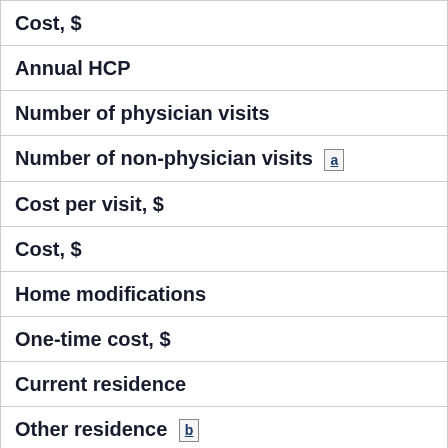| Cost, $ |
| Annual HCP |
| Number of physician visits |
| Number of non-physician visits [a] |
| Cost per visit, $ |
| Cost, $ |
| Home modifications |
| One-time cost, $ |
| Current residence |
| Other residence [b] |
| Annual Costs, $ |